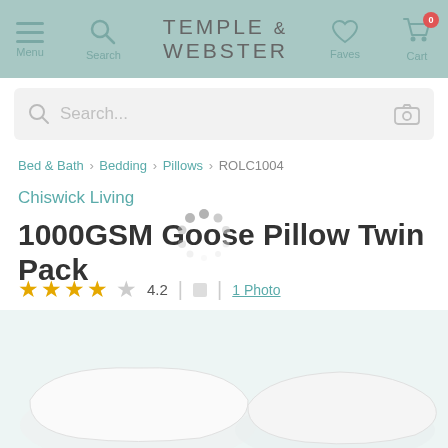Temple & Webster — Menu, Search, Faves, Cart (0)
Search...
Bed & Bath › Bedding › Pillows › ROLC1004
Chiswick Living
1000GSM Goose Pillow Twin Pack
★★★★☆ 4.2 | 1 Photo
[Figure (photo): Two white bed pillows shown at the bottom of the product page]